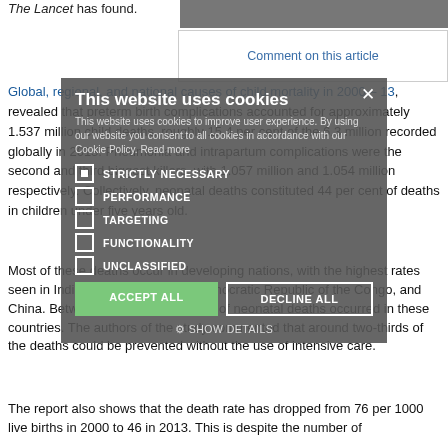The Lancet has found.
[Figure (photo): Partial photo at top right of page]
Comment on this article
Global, regional, and national causes of child mortality in 2000 – 13, revealed that preterm birth complications accounted for approximately 1.537 million child deaths, roughly 15.4 per cent of the 6.3 million recorded globally in 2013. Pneumonia and intrapartum complications were the second and third biggest killers, with 1.057 million and 1.054 million respectively. Collectively, neonatal deaths constituted 44 per cent of deaths in children under five years old.
Most of these deaths occur in developing nations, with the highest rates seen in India, Nigeria, Pakistan, Democratic Republic of the Congo, and China. Between them, 52.5 per cent of neonatal deaths occurred in these countries. The authors of the study commented that around two-thirds of the deaths could be prevented without the use of intensive care.
The report also shows that the death rate has dropped from 76 per 1000 live births in 2000 to 46 in 2013. This is despite the number of